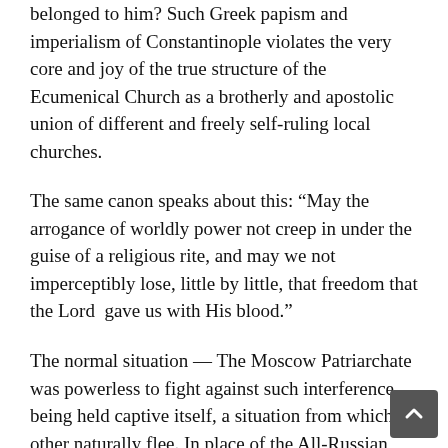belonged to him? Such Greek papism and imperialism of Constantinople violates the very core and joy of the true structure of the Ecumenical Church as a brotherly and apostolic union of different and freely self-ruling local churches.
The same canon speaks about this: “May the arrogance of worldly power not creep in under the guise of a religious rite, and may we not imperceptibly lose, little by little, that freedom that the Lord gave us with His blood.”
The normal situation — The Moscow Patriarchate was powerless to fight against such interference, being held captive itself, a situation from which other naturally flee. In place of the All-Russian Church Authority its temporary representative, the Bishops’ Council and Synod steadfastly defended the heritage and rights of the Russian Church all these years.
Autocephalous churches have always and everywhere